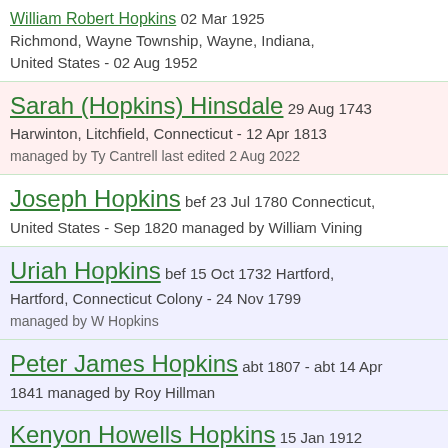William Robert Hopkins 02 Mar 1925 Richmond, Wayne Township, Wayne, Indiana, United States - 02 Aug 1952
Sarah (Hopkins) Hinsdale 29 Aug 1743 Harwinton, Litchfield, Connecticut - 12 Apr 1813 managed by Ty Cantrell last edited 2 Aug 2022
Joseph Hopkins bef 23 Jul 1780 Connecticut, United States - Sep 1820 managed by William Vining
Uriah Hopkins bef 15 Oct 1732 Hartford, Hartford, Connecticut Colony - 24 Nov 1799 managed by W Hopkins
Peter James Hopkins abt 1807 - abt 14 Apr 1841 managed by Roy Hillman
Kenyon Howells Hopkins 15 Jan 1912 Coffeyville, Montgomery, Kansas, United States - 07 Apr 1983
Robert Gravatt Hopkins 17 Sep 1837 Clinton